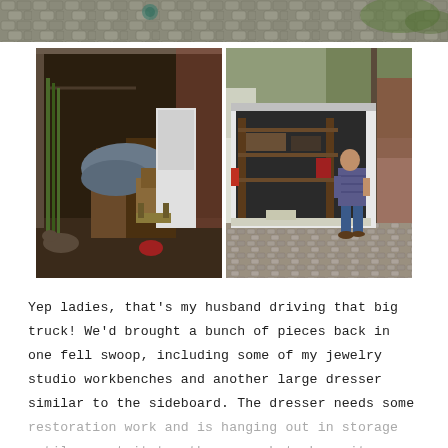[Figure (photo): Top strip of a cobblestone driveway/pathway with greenery]
[Figure (photo): Two side-by-side photos: left shows a cluttered garage with furniture and miscellaneous items; right shows a man walking near the back of a large open moving truck on a cobblestone driveway]
Yep ladies, that's my husband driving that big truck! We'd brought a bunch of pieces back in one fell swoop, including some of my jewelry studio workbenches and another large dresser similar to the sideboard. The dresser needs some restoration work and is hanging out in storage until we get it together enough to have it worked on and in the house. So...